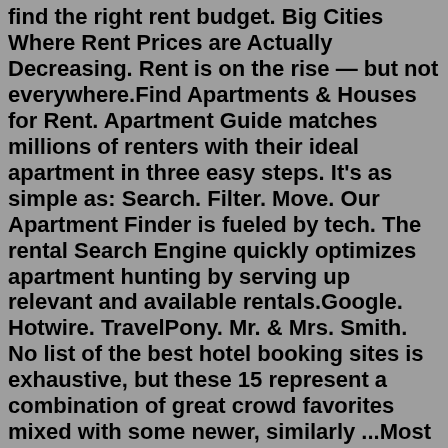find the right rent budget. Big Cities Where Rent Prices are Actually Decreasing. Rent is on the rise — but not everywhere.Find Apartments & Houses for Rent. Apartment Guide matches millions of renters with their ideal apartment in three easy steps. It's as simple as: Search. Filter. Move. Our Apartment Finder is fueled by tech. The rental Search Engine quickly optimizes apartment hunting by serving up relevant and available rentals.Google. Hotwire. TravelPony. Mr. & Mrs. Smith. No list of the best hotel booking sites is exhaustive, but these 15 represent a combination of great crowd favorites mixed with some newer, similarly ...Most senior apartments require residents to be at least 55 years old. Our editor's grandma taking a walk in her senior townhome community. Senior apartments vary in size and setup. The smaller apartments consist of studio apartments that are a large open room with a bedroom, living room, and kitchen in one space.May 09, 2022 · 4. VRBO. The acronym stands for Vacation Rental By Owner and it's a powerful name in the